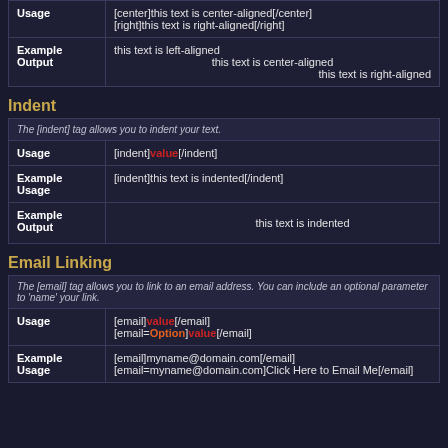|  |  |
| --- | --- |
| Usage | [center]this text is center-aligned[/center]
[right]this text is right-aligned[/right] |
| Example Output | this text is left-aligned
this text is center-aligned
this text is right-aligned |
Indent
|  |  |
| --- | --- |
| desc | The [indent] tag allows you to indent your text. |
| Usage | [indent]value[/indent] |
| Example Usage | [indent]this text is indented[/indent] |
| Example Output | this text is indented |
Email Linking
|  |  |
| --- | --- |
| desc | The [email] tag allows you to link to an email address. You can include an optional parameter to 'name' your link. |
| Usage | [email]value[/email]
[email=Option]value[/email] |
| Example Usage | [email]myname@domain.com[/email]
[email=myname@domain.com]Click Here to Email Me[/email] |